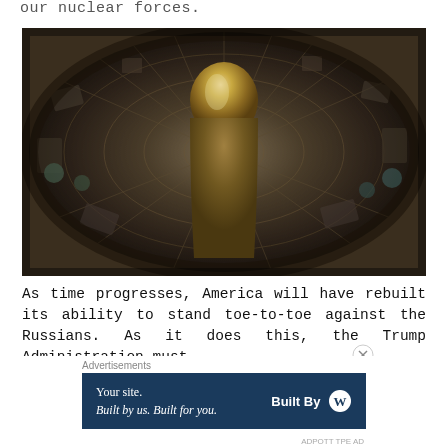our nuclear forces.
[Figure (photo): Aerial/top-down fisheye view inside a missile silo showing the nose cone of a large missile (likely a Titan II ICBM) in a cylindrical silo, with surrounding equipment and infrastructure visible in a wide-angle circular perspective.]
As time progresses, America will have rebuilt its ability to stand toe-to-toe against the Russians. As it does this, the Trump Administration must
Advertisements
[Figure (other): Advertisement banner: dark navy background with text 'Your site. Built by us. Built for you.' and 'Built By' with WordPress logo on the right.]